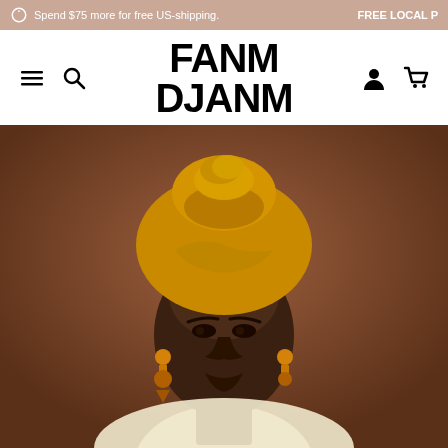Spend $75 more for free US-shipping. FREE LOCAL P
FANM DJANM
[Figure (photo): Portrait of a young Black woman wearing a golden-yellow fabric head wrap styled into a high turban knot, with dangling geometric earrings in orange and gold tones, wearing a light cream top, against a warm medium-brown background. She gazes directly at the camera with a calm, composed expression.]